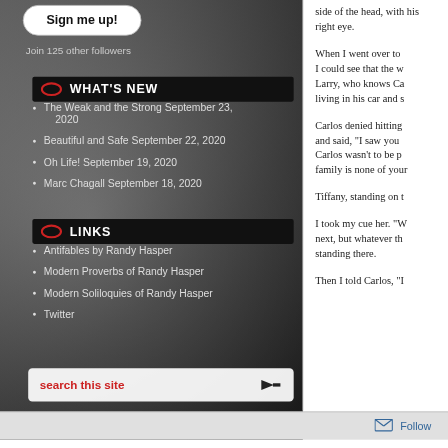Sign me up!
Join 125 other followers
WHAT'S NEW
The Weak and the Strong September 23, 2020
Beautiful and Safe September 22, 2020
Oh Life! September 19, 2020
Marc Chagall September 18, 2020
LINKS
Antifables by Randy Hasper
Modern Proverbs of Randy Hasper
Modern Soliloquies of Randy Hasper
Twitter
search this site
side of the head, with his right eye.
When I went over to I could see that the w Larry, who knows Ca living in his car and s
Carlos denied hitting and said, “I saw you Carlos wasn’t to be p family is none of your
Tiffany, standing on t
I took my cue her. “W next, but whatever th standing there.
Then I told Carlos, “I
Follow